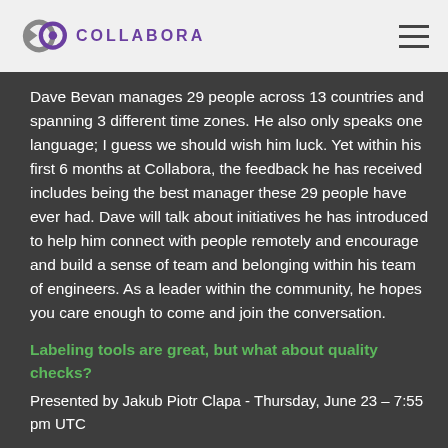COLLABORA (logo/nav header)
Dave Bevan manages 29 people across 13 countries and spanning 3 different time zones. He also only speaks one language; I guess we should wish him luck. Yet within his first 6 months at Collabora, the feedback he has received includes being the best manager these 29 people have ever had. Dave will talk about initiatives he has introduced to help him connect with people remotely and encourage and build a sense of team and belonging within his team of engineers. As a leader within the community, he hopes you care enough to come and join the conversation.
Labeling tools are great, but what about quality checks?
Presented by Jakub Piotr Clapa - Thursday, June 23 – 7:55 pm UTC
Data sets are the backbone of Machine Learning (ML), but some are more critical than others. There is a core set of them that researchers use to evaluate